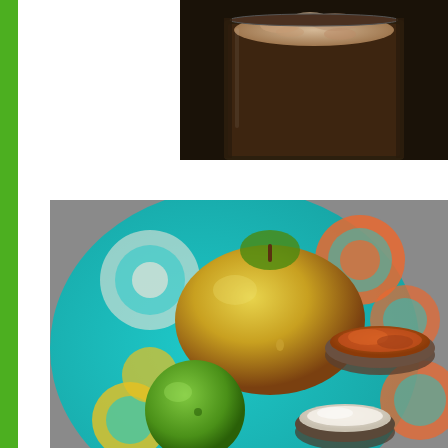[Figure (photo): Close-up photo of a frothy drink in a glass, dark brown color, viewed from above on a dark background]
[Figure (photo): Top-down photo of a mango, a lime, and two small bowls containing spice powder (orange-brown) and white powder on a colorful teal, orange, and yellow floral patterned plate/tray on a gray surface]